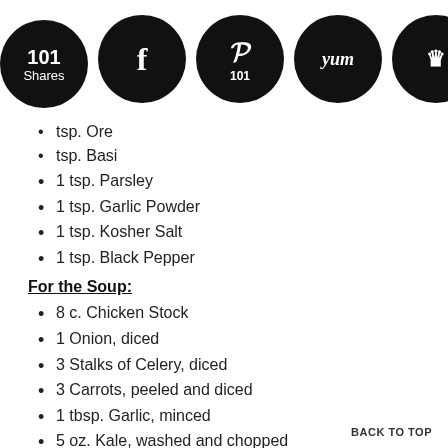[Figure (other): Social sharing bar with circular black icons: 101 Shares, Facebook, Pinterest (101), Yummly, and a crown icon]
tsp. Oregano (truncated)
tsp. Basil (truncated)
1 tsp. Parsley
1 tsp. Garlic Powder
1 tsp. Kosher Salt
1 tsp. Black Pepper
For the Soup:
8 c. Chicken Stock
1 Onion, diced
3 Stalks of Celery, diced
3 Carrots, peeled and diced
1 tbsp. Garlic, minced
5 oz. Kale, washed and chopped
15 oz. Can of Diced Tomatoes
1 c. Dry White Wine
1/2 c. Orzo
BACK TO TOP